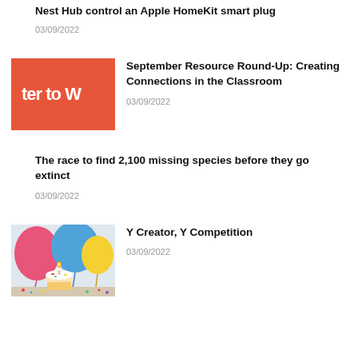Nest Hub control an Apple HomeKit smart plug
03/09/2022
[Figure (illustration): Orange/red background with white text partially visible reading 'ter to W']
September Resource Round-Up: Creating Connections in the Classroom
03/09/2022
The race to find 2,100 missing species before they go extinct
03/09/2022
[Figure (photo): Photo of colorful balloons (pink, blue, yellow) with a birthday cupcake with a number 1 candle and confetti]
Y Creator, Y Competition
03/09/2022